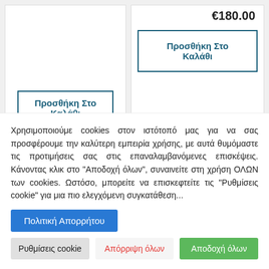[Figure (screenshot): Product card left side showing 'Προσθήκη Στο Καλάθι' button]
[Figure (screenshot): Product card right side showing price €180.00 and 'Προσθήκη Στο Καλάθι' button]
[Figure (screenshot): Partially visible product card at the bottom of the page]
Χρησιμοποιούμε cookies στον ιστότοπό μας για να σας προσφέρουμε την καλύτερη εμπειρία χρήσης, με αυτά θυμόμαστε τις προτιμήσεις σας στις επαναλαμβανόμενες επισκέψεις. Κάνοντας κλικ στο "Αποδοχή όλων", συναινείτε στη χρήση ΟΛΩΝ των cookies. Ωστόσο, μπορείτε να επισκεφτείτε τις "Ρυθμίσεις cookie" για μια πιο ελεγχόμενη συγκατάθεση...
Πολιτική Απορρήτου
Ρυθμίσεις cookie
Απόρριψη όλων
Αποδοχή όλων